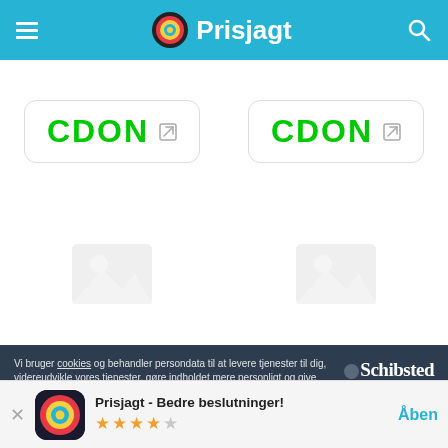Prisjagt
[Figure (logo): CDON store logo with external link icon, top-left product card]
[Figure (logo): CDON store logo with external link icon, top-right product card]
[Figure (illustration): No-image placeholder icon, bottom-left product card]
[Figure (illustration): No-image placeholder icon, bottom-right product card]
Vi bruger cookies og behandler persondata til at levere tjenester til dig, videreudvikle vores tjenester, gøre indholdet mere personligt og give dig relevant markedsføring via Facebook og Google.Vi er en del af Schibsted. Schibsted og deres annoncepartnere er ansvarlige for leveringen og personaliseringen af annoncer på Prisjagt og andre Schibsted-sites.
[Figure (logo): Schibsted logo]
[Figure (logo): Prisjagt app icon]
Prisjagt - Bedre beslutninger!
★★★★☆
Åben